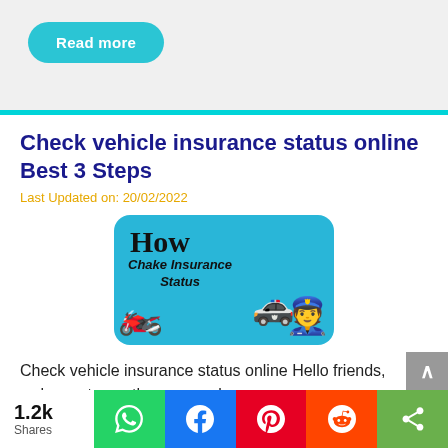Read more
Check vehicle insurance status online Best 3 Steps
Last Updated on: 20/02/2022
[Figure (illustration): Banner image with text 'How Chake Insurance Status' with people on motorcycle, police car, and police officer emoji on blue background]
Check vehicle insurance status online Hello friends, welcome to another new web …
1.2k Shares